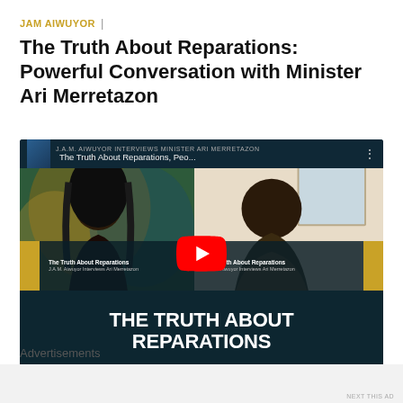JAM AIWUYOR  |
The Truth About Reparations: Powerful Conversation with Minister Ari Merretazon
[Figure (screenshot): YouTube video thumbnail showing two people in a split-screen video call. Left: a Black woman with long locs speaking. Right: an older Black man. Title overlay reads 'THE TRUTH ABOUT REPARATIONS'. Top bar reads 'J.A.M. AIWUYOR INTERVIEWS MINISTER ARI MERRETAZON' with video title 'The Truth About Reparations, Peo...' A red YouTube play button is centered. Bottom dark teal panel shows 'THE TRUTH ABOUT REPARATIONS' in large white bold text.]
Advertisements